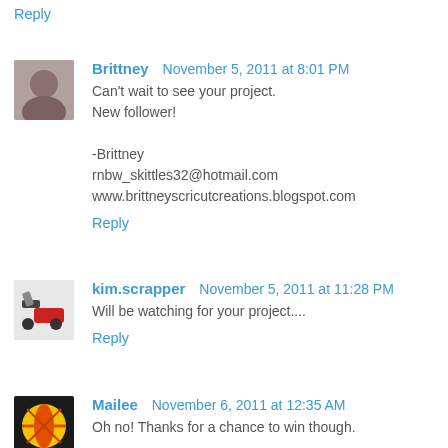Reply
Brittney  November 5, 2011 at 8:01 PM
Can't wait to see your project.
New follower!

-Brittney
rnbw_skittles32@hotmail.com
www.brittneyscricutcreations.blogspot.com
Reply
kim.scrapper  November 5, 2011 at 11:28 PM
Will be watching for your project....
Reply
Mailee  November 6, 2011 at 12:35 AM
Oh no! Thanks for a chance to win though.